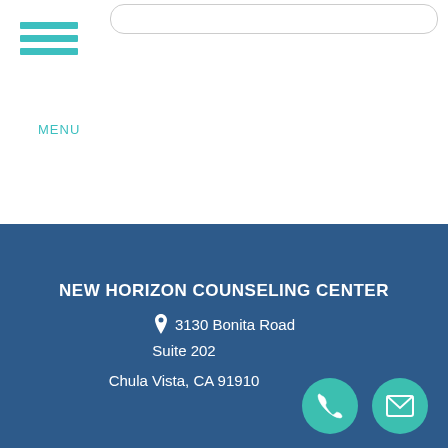MENU
NEW HORIZON COUNSELING CENTER
3130 Bonita Road
Suite 202
Chula Vista, CA 91910